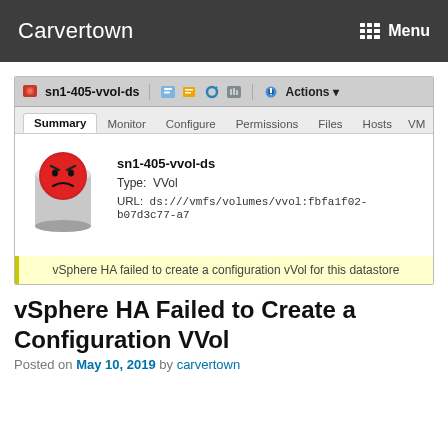Carvertown   Menu
[Figure (screenshot): VMware vSphere datastore management screenshot showing sn1-405-vvol-ds with a red angry-face error icon, Summary/Monitor/Configure/Permissions/Files/Hosts/VM tabs, datastore type VVol, URL ds:///vmfs/volumes/vvol:fbfa1f02-b07d3c77-a7, and a yellow warning banner reading 'vSphere HA failed to create a configuration vVol for this datastore']
vSphere HA Failed to Create a Configuration VVol
Posted on May 10, 2019 by carvertown